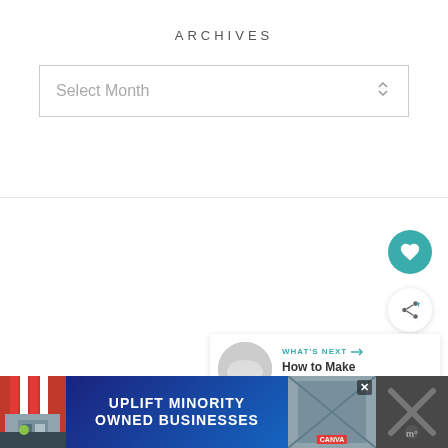ARCHIVES
Select Month
[Figure (screenshot): Heart/like button - teal circular button with white heart icon]
[Figure (screenshot): Share button - white circular button with share icon]
[Figure (screenshot): What's Next panel showing a pillow image thumbnail and text 'WHAT'S NEXT → How to Make DIY Pillow...']
[Figure (screenshot): Advertisement banner: 'UPLIFT MINORITY OWNED BUSINESSES' on dark blue background with storefront illustration]